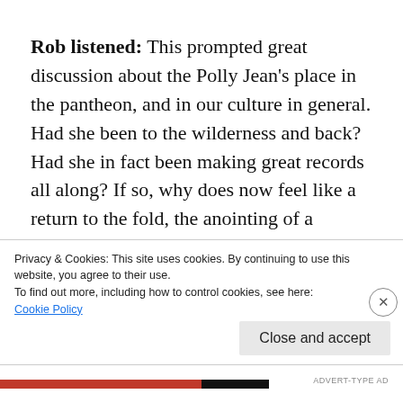Rob listened: This prompted great discussion about the Polly Jean's place in the pantheon, and in our culture in general. Had she been to the wilderness and back? Had she in fact been making great records all along? If so, why does now feel like a return to the fold, the anointing of a national treasure? Most importantly it
Privacy & Cookies: This site uses cookies. By continuing to use this website, you agree to their use.
To find out more, including how to control cookies, see here:
Cookie Policy
Close and accept